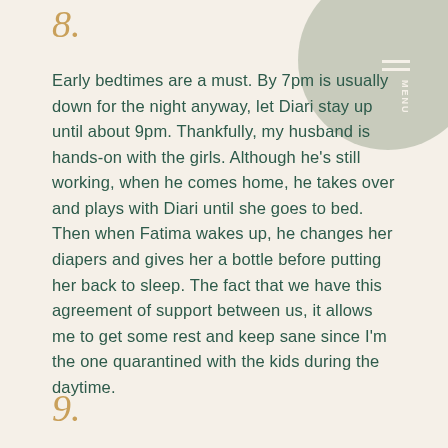8.
Early bedtimes are a must. By 7pm is usually down for the night anyway, let Diari stay up until about 9pm. Thankfully, my husband is hands-on with the girls. Although he's still working, when he comes home, he takes over and plays with Diari until she goes to bed. Then when Fatima wakes up, he changes her diapers and gives her a bottle before putting her back to sleep. The fact that we have this agreement of support between us, it allows me to get some rest and keep sane since I'm the one quarantined with the kids during the daytime.
9.